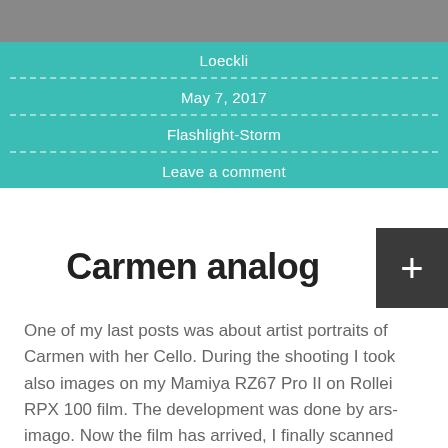[Figure (photo): Black and white photo strip at the top of the page]
Loeckli
May 7, 2017
Flashlight-Storm
Leave a comment
Carmen analog
One of my last posts was about artist portraits of Carmen with her Cello. During the shooting I took also images on my Mamiya RZ67 Pro II on Rollei RPX 100 film. The development was done by ars-imago. Now the film has arrived, I finally scanned and removed the dust from the images. So here [...]